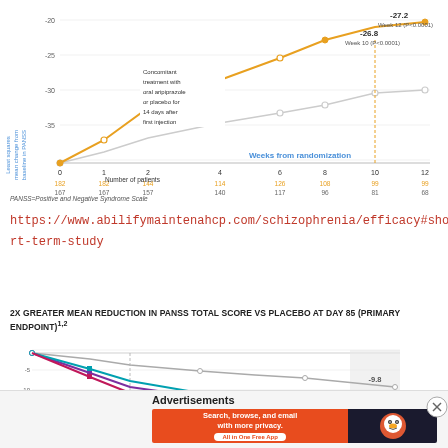[Figure (line-chart): Line chart showing PANSS total score change from baseline over 12 weeks. Aripiprazole line reaches -26.8 at Week 10 (P<0.0001) and -27.2 at Week 12 (P<0.0001). Placebo line trends less steeply. Concomitant treatment with oral aripiprazole or placebo for 14 days after first injection noted.]
PANSS=Positive and Negative Syndrome Scale
https://www.abilifymaintenahcp.com/schizophrenia/efficacy#short-term-study
2X GREATER MEAN REDUCTION IN PANSS TOTAL SCORE VS PLACEBO AT DAY 85 (PRIMARY ENDPOINT)1,2
[Figure (line-chart): Line chart showing PANSS total score reduction. Multiple lines including placebo (gray reaching -9.8), and active treatment arms (purple, teal, pink) showing greater reductions beyond -10.]
Advertisements
[Figure (illustration): DuckDuckGo advertisement banner: Search, browse, and email with more privacy. All in One Free App.]